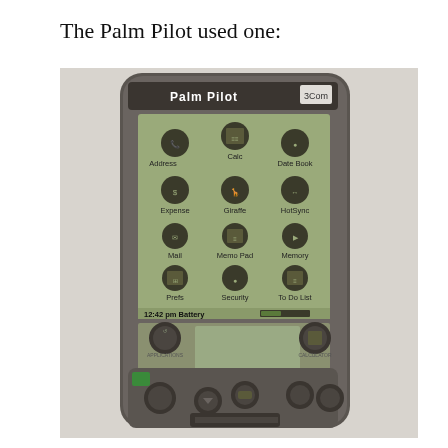The Palm Pilot used one:
[Figure (photo): Photograph of a Palm Pilot PDA device showing the screen with app icons including Address, Calc, Date Book, Expense, Giraffe, HotSync, Mail, Memo Pad, Memory, Prefs, Security, To Do List. The screen shows 12:42 pm and Battery indicator. The device has hardware buttons at the bottom and is branded with Palm Pilot and 3Com logos.]